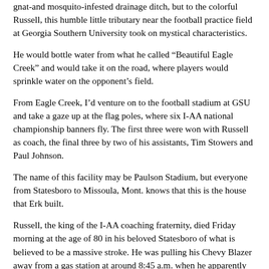gnat-and mosquito-infested drainage ditch, but to the colorful Russell, this humble little tributary near the football practice field at Georgia Southern University took on mystical characteristics.
He would bottle water from what he called “Beautiful Eagle Creek” and would take it on the road, where players would sprinkle water on the opponent’s field.
From Eagle Creek, I’d venture on to the football stadium at GSU and take a gaze up at the flag poles, where six I-AA national championship banners fly. The first three were won with Russell as coach, the final three by two of his assistants, Tim Stowers and Paul Johnson.
The name of this facility may be Paulson Stadium, but everyone from Statesboro to Missoula, Mont. knows that this is the house that Erk built.
Russell, the king of the I-AA coaching fraternity, died Friday morning at the age of 80 in his beloved Statesboro of what is believed to be a massive stroke. He was pulling his Chevy Blazer away from a gas station at around 8:45 a.m. when he apparently suffered the illness. The truck swerved off the road and struck a light pole before coming to a stop.
A Statesboro police spokesman said the accident was minor and officials at East Georgia Regional Medical Center in Statesboro, where Russell was taken, said the accident did not contribute to his death.